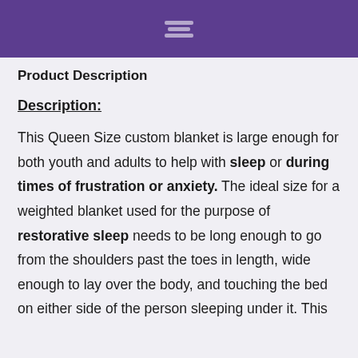Product Description
Description:
This Queen Size custom blanket is large enough for both youth and adults to help with sleep or during times of frustration or anxiety. The ideal size for a weighted blanket used for the purpose of restorative sleep needs to be long enough to go from the shoulders past the toes in length, wide enough to lay over the body, and touching the bed on either side of the person sleeping under it. This